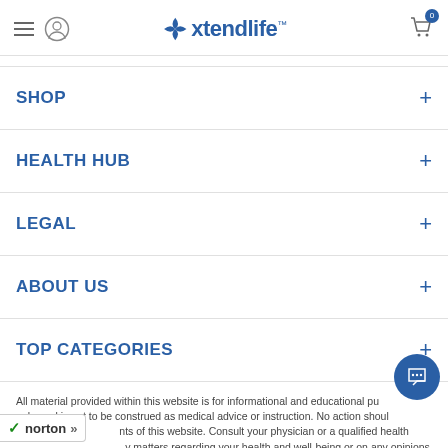Xtendlife navigation header with hamburger menu, user icon, logo, and cart
SHOP +
HEALTH HUB +
LEGAL +
ABOUT US +
TOP CATEGORIES +
All material provided within this website is for informational and educational purposes only, and is not to be construed as medical advice or instruction. No action should be taken based on the contents of this website. Consult your physician or a qualified health professional on any matters regarding your health and well-being or on any opinions